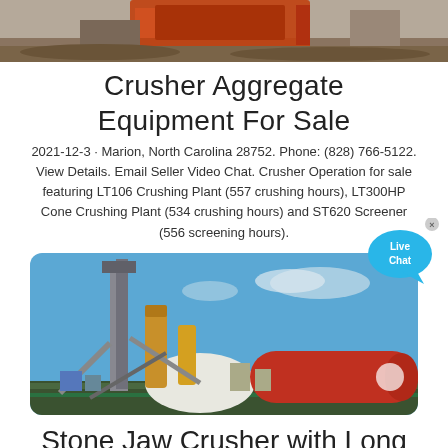[Figure (photo): Partial top of image showing industrial crusher equipment on a construction/mining site with orange machinery and dirt ground]
Crusher Aggregate Equipment For Sale
2021-12-3 · Marion, North Carolina 28752. Phone: (828) 766-5122. View Details. Email Seller Video Chat. Crusher Operation for sale featuring LT106 Crushing Plant (557 crushing hours), LT300HP Cone Crushing Plant (534 crushing hours) and ST620 Screener (556 screening hours).
[Figure (photo): Industrial cement plant or stone crushing facility with tall silos, conveyors, and a large red cylindrical structure under a blue sky]
Stone Jaw Crusher with Long